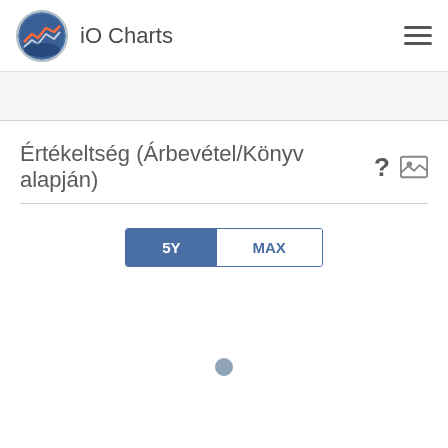iO Charts
Értékeltség (Árbevétel/Könyv alapján)
[Figure (screenshot): Toggle button group with '5Y' (active, blue) and 'MAX' (inactive, white) options for time range selection, followed by a loading indicator dot in the chart area below.]